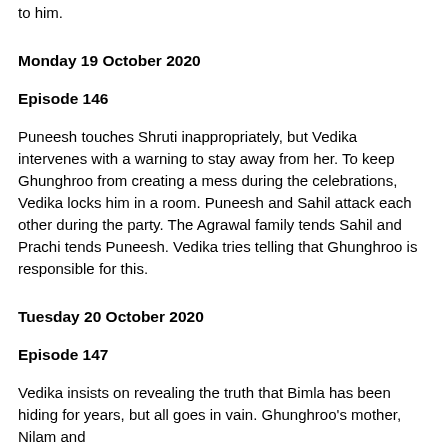to him.
Monday 19 October 2020
Episode 146
Puneesh touches Shruti inappropriately, but Vedika intervenes with a warning to stay away from her. To keep Ghunghroo from creating a mess during the celebrations, Vedika locks him in a room. Puneesh and Sahil attack each other during the party. The Agrawal family tends Sahil and Prachi tends Puneesh. Vedika tries telling that Ghunghroo is responsible for this.
Tuesday 20 October 2020
Episode 147
Vedika insists on revealing the truth that Bimla has been hiding for years, but all goes in vain. Ghunghroo's mother, Nilam and